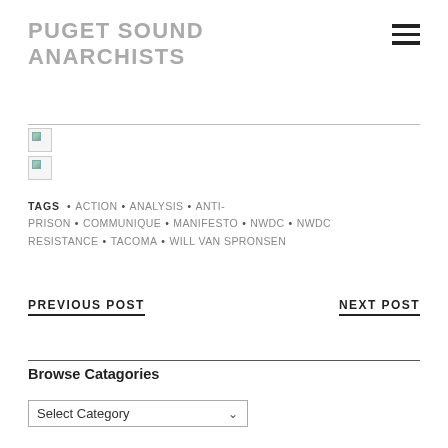PUGET SOUND ANARCHISTS
[Figure (other): Two broken image placeholders stacked vertically]
TAGS • ACTION • ANALYSIS • ANTI-PRISON • COMMUNIQUE • MANIFESTO • NWDC • NWDC RESISTANCE • TACOMA • WILL VAN SPRONSEN
PREVIOUS POST    NEXT POST
Browse Catagories
Select Category (dropdown)